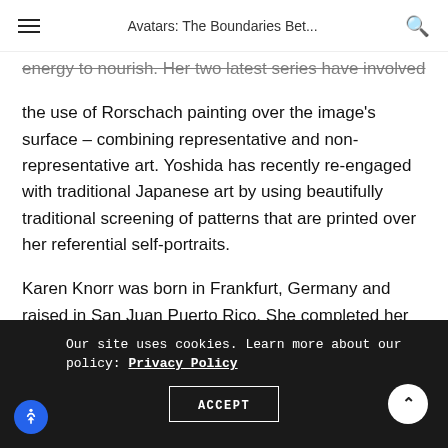Avatars: The Boundaries Bet...
energy to nourish. Her two latest series have involved the use of Rorschach painting over the image's surface – combining representative and non-representative art. Yoshida has recently re-engaged with traditional Japanese art by using beautifully traditional screening of patterns that are printed over her referential self-portraits.
Karen Knorr was born in Frankfurt, Germany and raised in San Juan Puerto Rico. She completed her
Our site uses cookies. Learn more about our policy: Privacy Policy
ACCEPT